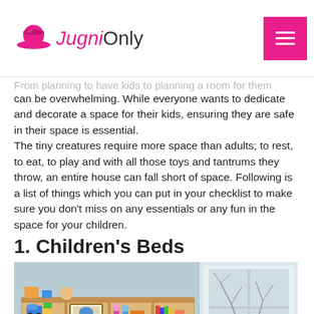Jugni Only
From planning to have kids to planning a room for them can be overwhelming. While everyone wants to dedicate and decorate a space for their kids, ensuring they are safe in their space is essential.
The tiny creatures require more space than adults; to rest, to eat, to play and with all those toys and tantrums they throw, an entire house can fall short of space. Following is a list of things which you can put in your checklist to make sure you don't miss on any essentials or any fun in the space for your children.
1. Children's Beds
[Figure (photo): A children's room with a wooden toy cubby shelf filled with colorful toys and books. A window is visible on the right side.]